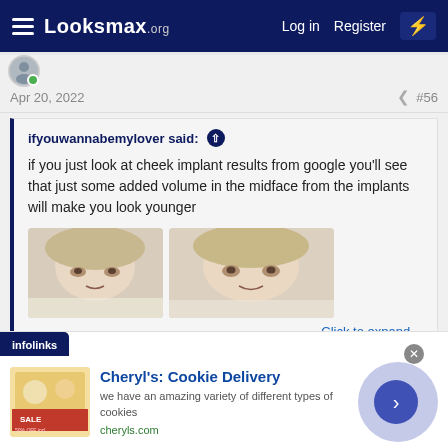Looksmax.org — Log in | Register
Apr 20, 2022  #56
ifyouwannabemylover said:
if you just look at cheek implant results from google you'll see that just some added volume in the midface from the implants will make you look younger
[Figure (photo): Before and after cheek implant photos showing two face close-ups]
Click to expand...
Cheryl's: Cookie Delivery — we have an amazing variety of different types of cookies — cheryls.com